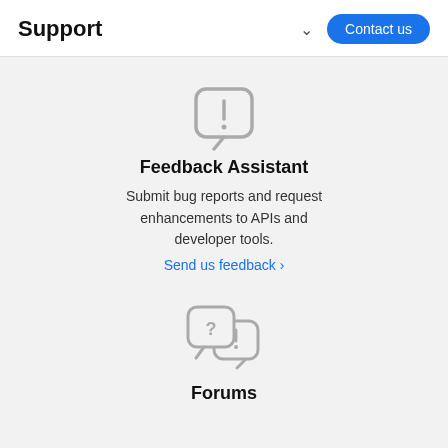Support
[Figure (illustration): Speech bubble with exclamation mark icon, gray outline style]
Feedback Assistant
Submit bug reports and request enhancements to APIs and developer tools.
Send us feedback ›
[Figure (illustration): Two overlapping speech bubbles, one with question mark and one with exclamation mark, gray outline style]
Forums